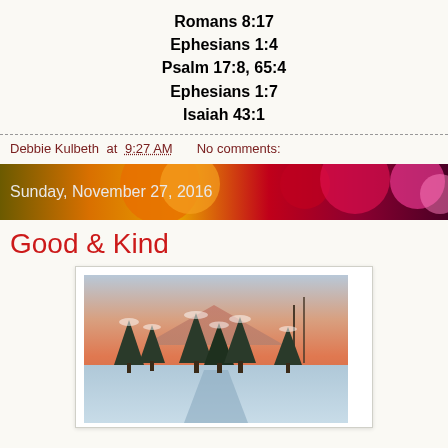Romans 8:17
Ephesians 1:4
Psalm 17:8, 65:4
Ephesians 1:7
Isaiah 43:1
Debbie Kulbeth at 9:27 AM    No comments:
Sunday, November 27, 2016
Good & Kind
[Figure (photo): Winter landscape with snow-covered evergreen trees and a warm pink/orange sunset sky reflecting on a snowy stream or path.]